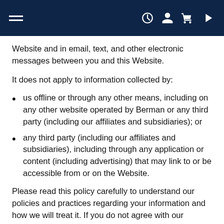Navigation bar with hamburger menu and icons
Website and in email, text, and other electronic messages between you and this Website.
It does not apply to information collected by:
us offline or through any other means, including on any other website operated by Berman or any third party (including our affiliates and subsidiaries); or
any third party (including our affiliates and subsidiaries), including through any application or content (including advertising) that may link to or be accessible from or on the Website.
Please read this policy carefully to understand our policies and practices regarding your information and how we will treat it. If you do not agree with our policies and practices, you should not use our Website. By accessing or using this